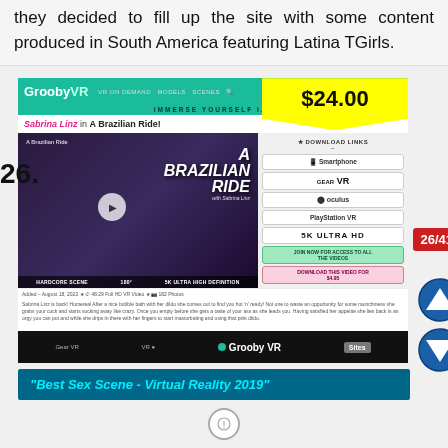they decided to fill up the site with some content produced in South America featuring Latina TGirls.
[Figure (screenshot): GroobyVR website screenshot showing 'Sabrina Linz in A Brazilian Ride!' VR scene with price tag $24.00, download links panel, and Grooby VR branding footer]
26.
"Best Sex Scene - Virtual Reality 2019"
26/41